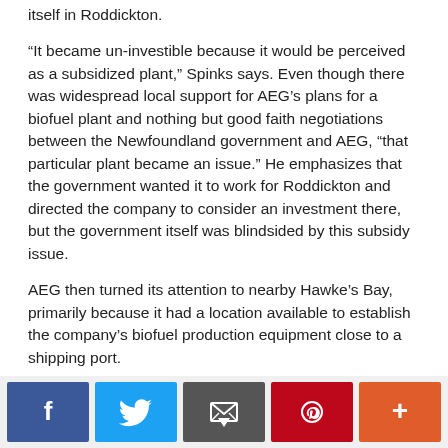itself in Roddickton.
“It became un-investible because it would be perceived as a subsidized plant,” Spinks says. Even though there was widespread local support for AEG’s plans for a biofuel plant and nothing but good faith negotiations between the Newfoundland government and AEG, “that particular plant became an issue.” He emphasizes that the government wanted it to work for Roddickton and directed the company to consider an investment there, but the government itself was blindsided by this subsidy issue.
AEG then turned its attention to nearby Hawke’s Bay, primarily because it had a location available to establish the company’s biofuel production equipment close to a shipping port.
That raised the issue of what would happen to the sawlogs harvested by AEG within its CTP area. The concern of Roddickton area residents was that they would either be used by AEG in its CoalSwitch process or shipped outside the region. They wanted the sawlogs to be used locally, and preferably at the Roddickton sawmill.
[Figure (infographic): Social sharing buttons: Facebook, Twitter, Email, Pinterest, Plus]